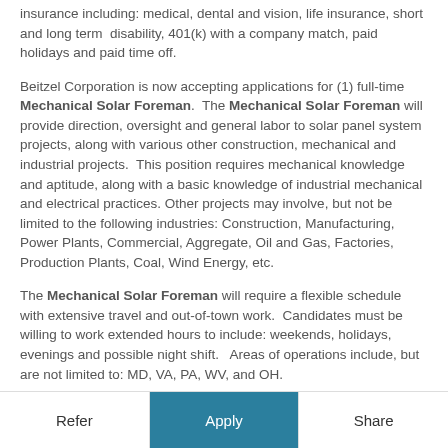insurance including: medical, dental and vision, life insurance, short and long term disability, 401(k) with a company match, paid holidays and paid time off.
Beitzel Corporation is now accepting applications for (1) full-time Mechanical Solar Foreman. The Mechanical Solar Foreman will provide direction, oversight and general labor to solar panel system projects, along with various other construction, mechanical and industrial projects. This position requires mechanical knowledge and aptitude, along with a basic knowledge of industrial mechanical and electrical practices. Other projects may involve, but not be limited to the following industries: Construction, Manufacturing, Power Plants, Commercial, Aggregate, Oil and Gas, Factories, Production Plants, Coal, Wind Energy, etc.
The Mechanical Solar Foreman will require a flexible schedule with extensive travel and out-of-town work. Candidates must be willing to work extended hours to include: weekends, holidays, evenings and possible night shift. Areas of operations include, but are not limited to: MD, VA, PA, WV, and OH.
Refer   Apply   Share